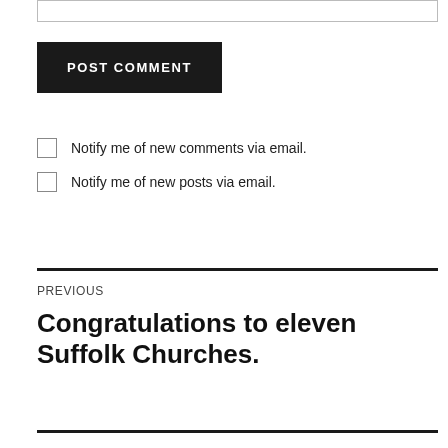[textarea input box]
POST COMMENT
Notify me of new comments via email.
Notify me of new posts via email.
PREVIOUS
Congratulations to eleven Suffolk Churches.